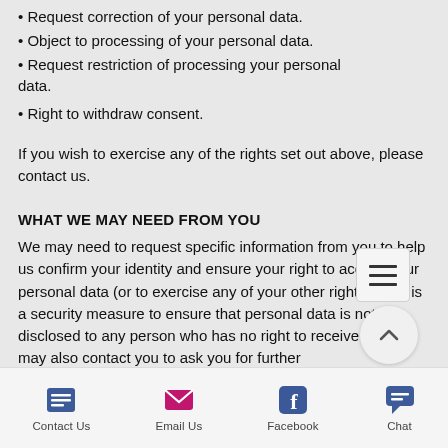• Request correction of your personal data.
• Object to processing of your personal data.
• Request restriction of processing your personal data.
• Right to withdraw consent.
If you wish to exercise any of the rights set out above, please contact us.
WHAT WE MAY NEED FROM YOU
We may need to request specific information from you to help us confirm your identity and ensure your right to access your personal data (or to exercise any of your other rights). This is a security measure to ensure that personal data is not disclosed to any person who has no right to receive it. We may also contact you to ask you for further
Contact Us | Email Us | Facebook | Chat